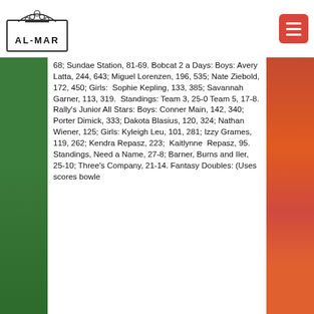[Figure (logo): AL-MAR bowling alley logo with bowling pins graphic and text AL-MAR in a rectangular frame]
[Figure (other): Red hamburger menu button in top right corner]
68; Sundae Station, 81-69. Bobcat 2 a Days: Boys: Avery Latta, 244, 643; Miguel Lorenzen, 196, 535; Nate Ziebold, 172, 450; Girls: Sophie Kepling, 133, 385; Savannah Garner, 113, 319. Standings: Team 3, 25-0 Team 5, 17-8. Rally's Junior All Stars: Boys: Conner Main, 142, 340; Porter Dimick, 333; Dakota Blasius, 120, 324; Nathan Wiener, 125; Girls: Kyleigh Leu, 101, 281; Izzy Grames, 119, 262; Kendra Repasz, 223; Kaitlynne Repasz, 95. Standings, Need a Name, 27-8; Barner, Burns and Iler, 25-10; Three's Company, 21-14. Fantasy Doubles: (Uses scores bowle